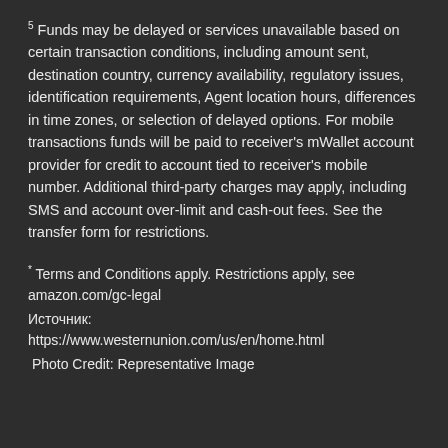5 Funds may be delayed or services unavailable based on certain transaction conditions, including amount sent, destination country, currency availability, regulatory issues, identification requirements, Agent location hours, differences in time zones, or selection of delayed options. For mobile transactions funds will be paid to receiver's mWallet account provider for credit to account tied to receiver's mobile number. Additional third-party charges may apply, including SMS and account over-limit and cash-out fees. See the transfer form for restrictions.
* Terms and Conditions apply. Restrictions apply, see amazon.com/gc-legal
Источник:
https://www.westernunion.com/us/en/home.html
Photo Credit: Representative Image